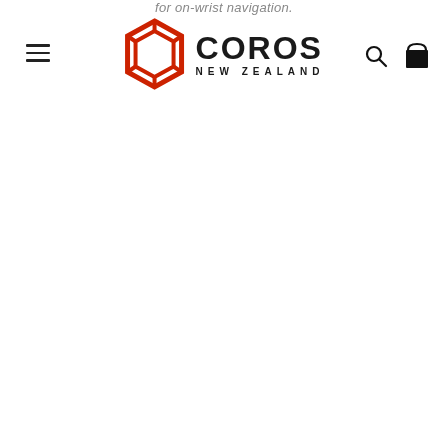for on-wrist navigation. COROS NEW ZEALAND
for on-wrist navigation.